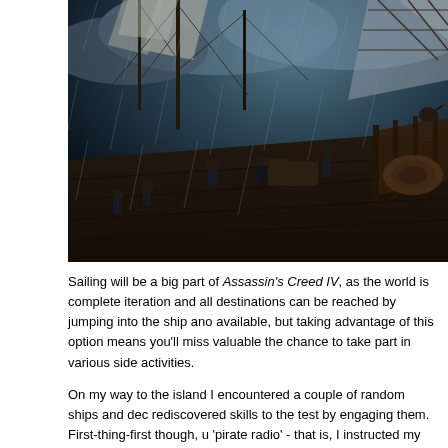[Figure (illustration): Dark, dramatic artwork showing the deck of a tall sailing ship in a storm. Multiple crew members are visible on the rain-soaked wooden deck amid masts, ropes, and rigging. A figure clings to the rigging on the right side. The scene is dark and atmospheric, depicting a naval battle or storm scene, consistent with Assassin's Creed IV artwork.]
Sailing will be a big part of Assassin's Creed IV, as the world is complete iteration and all destinations can be reached by jumping into the ship ano available, but taking advantage of this option means you'll miss valuable the chance to take part in various side activities.
On my way to the island I encountered a couple of random ships and dec rediscovered skills to the test by engaging them. First-thing-first though, u 'pirate radio' - that is, I instructed my crew to sing me a hearty sea-shanty I approached the nearest vessel and unleashed a broadside.